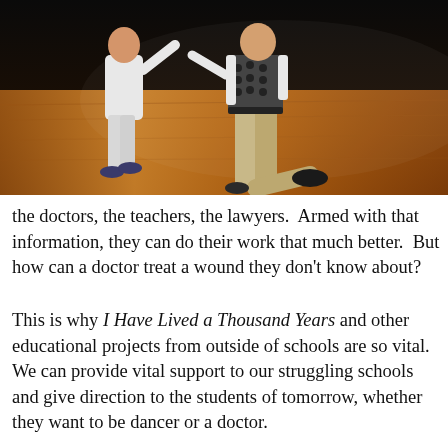[Figure (photo): Two people dancing on a wooden dance floor against a dark background. One dancer on the left wears white, the other on the right wears a patterned top and khaki pants.]
the doctors, the teachers, the lawyers.  Armed with that information, they can do their work that much better.  But how can a doctor treat a wound they don't know about?
This is why I Have Lived a Thousand Years and other educational projects from outside of schools are so vital.  We can provide vital support to our struggling schools and give direction to the students of tomorrow, whether they want to be dancer or a doctor.
It also...